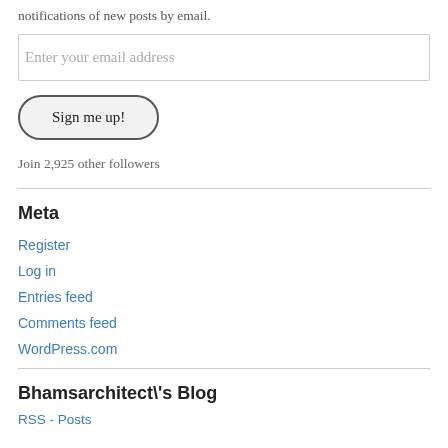notifications of new posts by email.
Enter your email address
Sign me up!
Join 2,925 other followers
Meta
Register
Log in
Entries feed
Comments feed
WordPress.com
Bhamsarchitect\'s Blog